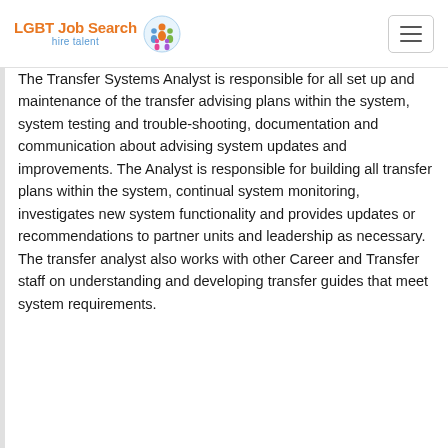LGBT Job Search hire talent
The Transfer Systems Analyst is responsible for all set up and maintenance of the transfer advising plans within the system, system testing and trouble-shooting, documentation and communication about advising system updates and improvements. The Analyst is responsible for building all transfer plans within the system, continual system monitoring, investigates new system functionality and provides updates or recommendations to partner units and leadership as necessary. The transfer analyst also works with other Career and Transfer staff on understanding and developing transfer guides that meet system requirements.